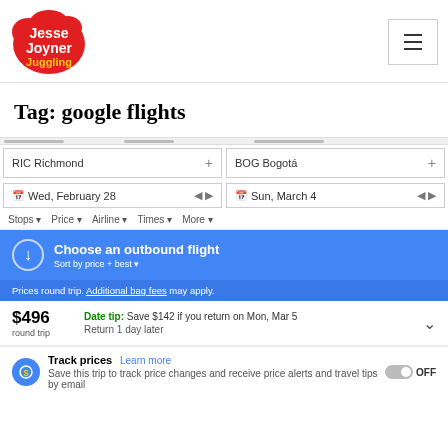[Figure (logo): Jesse Joyner Juggling logo — red cloud shape with white text 'Jesse Joyner' and yellow text 'Juggling']
Tag: google flights
[Figure (screenshot): Google Flights search interface screenshot showing: origin RIC Richmond, destination BOG Bogotá, departure Wed February 28, return Sun March 4, filter options (Stops, Price, Airline, Times, More), blue outbound flight section with 'Choose an outbound flight / Sort by price + best', prices round trip / Additional bag fees may apply, $496 round trip with Date tip: Save $142 if you return on Mon Mar 5 / Return 1 day later, and Track prices section with Learn more link and OFF toggle]